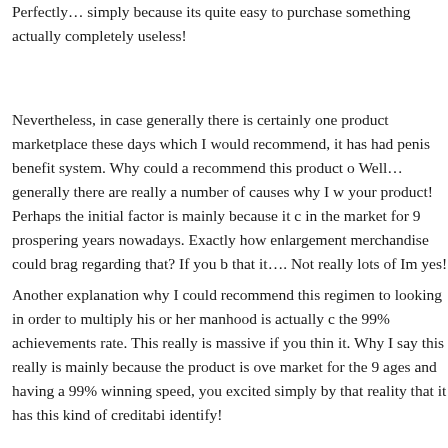Perfectly… simply because its quite easy to purchase something actually completely useless!
Nevertheless, in case generally there is certainly one product in the marketplace these days which I would recommend, it has had a penis benefit system. Why could a recommend this product over Well… generally there are really a number of causes why I would your product! Perhaps the initial factor is mainly because it currently in the market for 9 prospering years nowadays. Exactly how many enlargement merchandise could brag regarding that? If you believe that it…. Not really lots of Im yes!
Another explanation why I could recommend this regimen to someone looking in order to multiply his or her manhood is actually coming from the 99% achievements rate. This really is massive if you think about it. Why I say this really is mainly because the product is over in the market for the 9 ages and having a 99% winning speed, you should excited simply by that reality that it has this kind of creditability to identify!